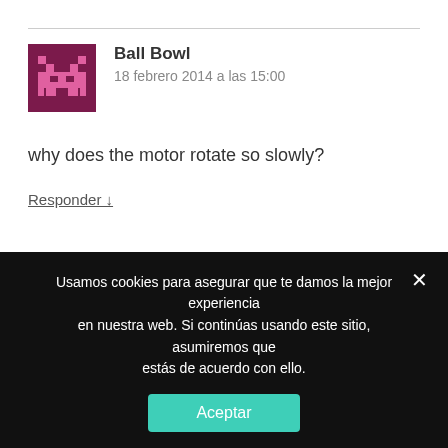Ball Bowl
18 febrero 2014 a las 15:00
why does the motor rotate so slowly?
Responder ↓
admin Autor
18 febrero 2014 a las 15:53
Usamos cookies para asegurar que te damos la mejor experiencia en nuestra web. Si continúas usando este sitio, asumiremos que estás de acuerdo con ello.
Aceptar